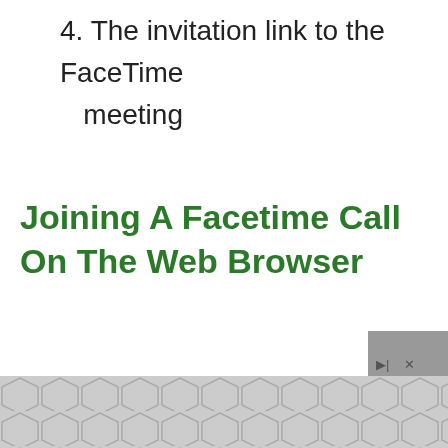4. The invitation link to the FaceTime meeting
Joining A Facetime Call On The Web Browser
As mentioned earlier, you will need the invite link to join the web meeting on your Android device or Windows PC. There are several platforms where you can receive the links. The link can be shared through a messaging app